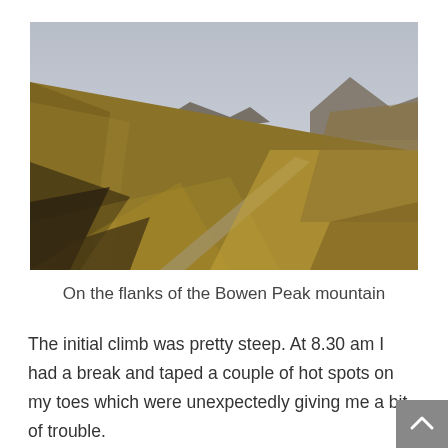[Figure (photo): A mountain trail winding up a steep grassy hillside. Golden-brown tussock grass covers the slope in the foreground. Two mountain peaks are visible in the background under a grey cloudy sky. A narrow dirt path cuts diagonally across the hill.]
On the flanks of the Bowen Peak mountain
The initial climb was pretty steep. At 8.30 am I had a break and taped a couple of hot spots on my toes which were unexpectedly giving me a bit of trouble.